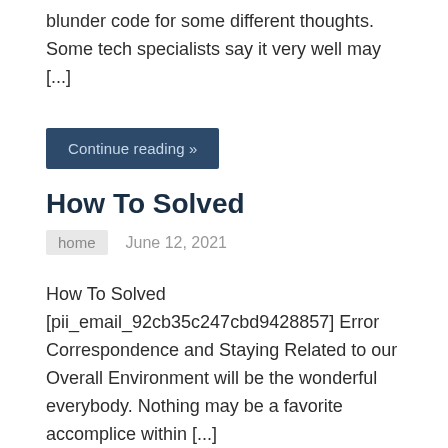blunder code for some different thoughts. Some tech specialists say it very well may [...]
Continue reading »
How To Solved
home   June 12, 2021
How To Solved [pii_email_92cb35c247cbd9428857] Error Correspondence and Staying Related to our Overall Environment will be the wonderful everybody. Nothing may be a favorite accomplice within [...]
Continue reading »